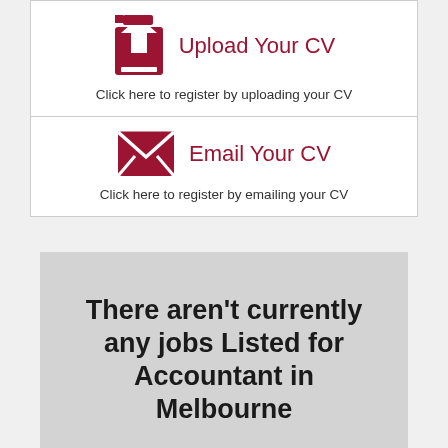[Figure (infographic): Upload Your CV button card with upload icon and text: Click here to register by uploading your CV]
[Figure (infographic): Email Your CV button card with envelope icon and text: Click here to register by emailing your CV]
There aren't currently any jobs Listed for Accountant in Melbourne